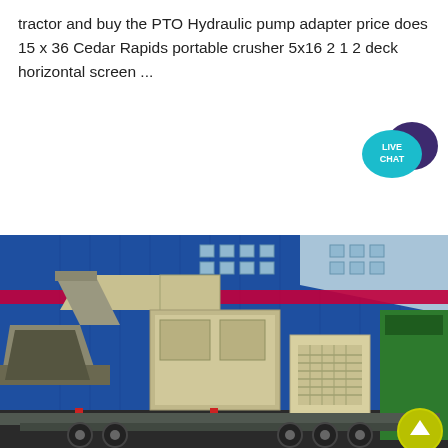tractor and buy the PTO Hydraulic pump adapter price does 15 x 36 Cedar Rapids portable crusher 5x16 2 1 2 deck horizontal screen ...
[Figure (photo): A portable crushing machine (jaw crusher) mounted on a flatbed trailer, parked in front of a large blue industrial building with red stripe. A green truck is visible on the right side.]